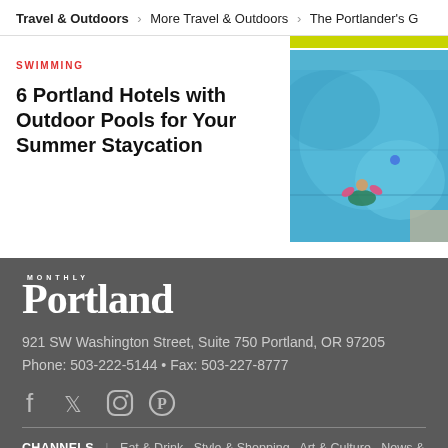Travel & Outdoors > More Travel & Outdoors > The Portlander's G
SWIMMING
6 Portland Hotels with Outdoor Pools for Your Summer Staycation
[Figure (photo): A child in a swimming pool with colorful floaties, viewed from above, with blue water.]
Portland Monthly
921 SW Washington Street, Suite 750 Portland, OR 97205
Phone: 503-222-5144 • Fax: 503-227-8777
[Figure (other): Social media icons: Facebook, Twitter, Instagram, Pinterest]
CHANNELS | Eat & Drink  Style & Shopping  Art & Culture  News & City Life  Travel & Outdoors  Home & Real Estate  Health & Wellness  Best of the City
ABOUT US | Masthead  Advertise  Jobs  Internships  Privacy Policy